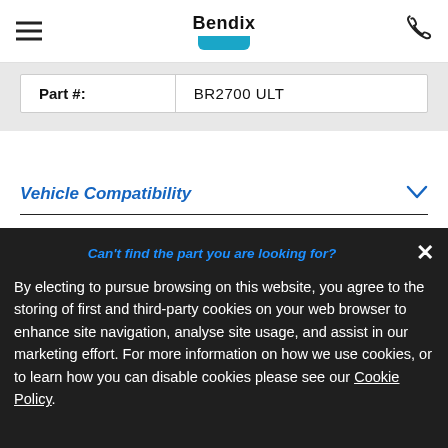[Figure (logo): Bendix logo with bold text and teal/blue stripe beneath]
| Part #: | BR2700 ULT |
| --- | --- |
Vehicle Compatibility
Can't find the part you are looking for?
By electing to pursue browsing on this website, you agree to the storing of first and third-party cookies on your web browser to enhance site navigation, analyse site usage, and assist in our marketing effort. For more information on how we use cookies, or to learn how you can disable cookies please see our Cookie Policy.